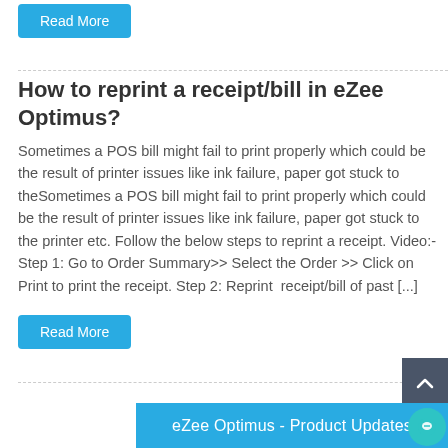Read More
How to reprint a receipt/bill in eZee Optimus?
Sometimes a POS bill might fail to print properly which could be the result of printer issues like ink failure, paper got stuck to theSometimes a POS bill might fail to print properly which could be the result of printer issues like ink failure, paper got stuck to the printer etc. Follow the below steps to reprint a receipt. Video:- Step 1: Go to Order Summary>> Select the Order >> Click on Print to print the receipt. Step 2: Reprint  receipt/bill of past [...]
Read More
eZee Optimus - Product Updates